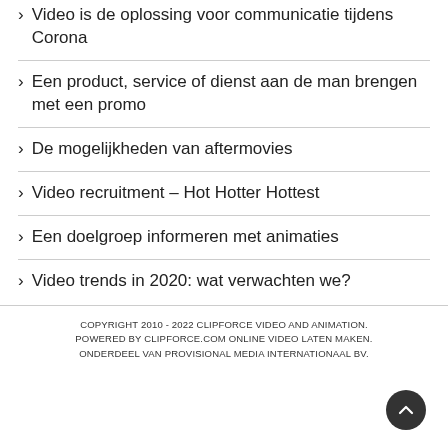Video is de oplossing voor communicatie tijdens Corona
Een product, service of dienst aan de man brengen met een promo
De mogelijkheden van aftermovies
Video recruitment – Hot Hotter Hottest
Een doelgroep informeren met animaties
Video trends in 2020: wat verwachten we?
COPYRIGHT 2010 - 2022 CLIPFORCE VIDEO AND ANIMATION. POWERED BY CLIPFORCE.COM ONLINE VIDEO LATEN MAKEN. ONDERDEEL VAN PROVISIONAL MEDIA INTERNATIONAAL BV.